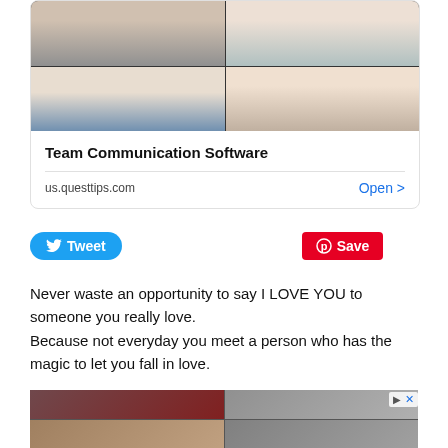[Figure (screenshot): Video call grid showing 4 participants in a 2x2 layout — top ad card showing team communication software]
Team Communication Software
us.questtips.com   Open >
[Figure (screenshot): Tweet and Save social sharing buttons]
Never waste an opportunity to say I LOVE YOU to someone you really love. Because not everyday you meet a person who has the magic to let you fall in love.
[Figure (screenshot): Bottom ad showing video call grid with 4 participants in a 2x2 layout with close button]